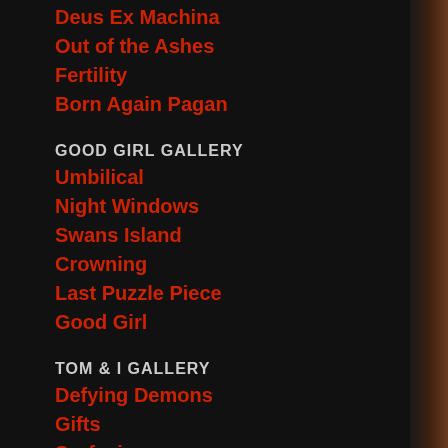Deus Ex Machina
Out of the Ashes
Fertility
Born Again Pagan
GOOD GIRL GALLERY
Umbilical
Night Windows
Swans Island
Crowning
Last Puzzle Piece
Good Girl
TOM & I GALLERY
Defying Demons
Gifts
Surfacing
Initiation
Over the Wall
Kundalini
Protection
Heirogamus